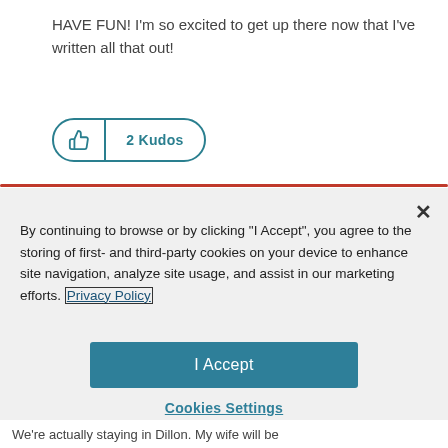HAVE FUN! I'm so excited to get up there now that I've written all that out!
[Figure (other): Thumbs up kudos button showing 2 Kudos count with teal border and divider]
[Figure (screenshot): Cookie consent modal overlay with close X button, privacy policy text, I Accept button, and Cookies Settings link]
We're actually staying in Dillon. My wife will be